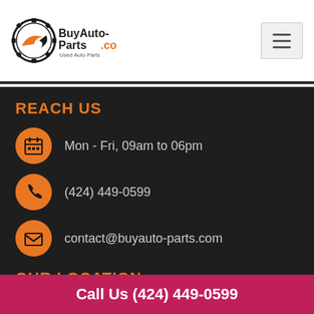[Figure (logo): BuyAuto-Parts.com logo with gear/circle icon and text 'Used Auto Parts']
REACH US
Mon - Fri, 09am to 06pm
(424) 449-0599
contact@buyauto-parts.com
OUR LOCATION
BuyAuto-Parts.Com
5 Brewster Street,
Glen Cove, NY 11542
Call Us (424) 449-0599